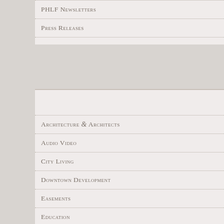PHLF Newsletters
Press Releases
Architecture & Architects
Audio Video
City Living
Downtown Development
Easements
Education
Essays